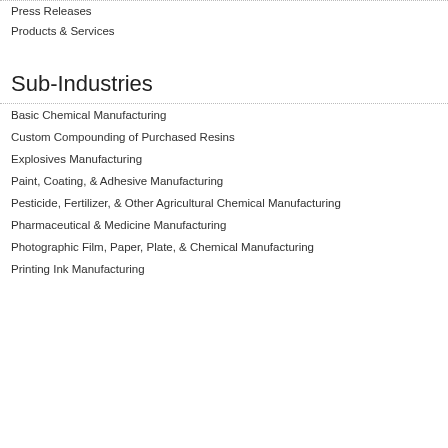Press Releases
Products & Services
Sub-Industries
Basic Chemical Manufacturing
Custom Compounding of Purchased Resins
Explosives Manufacturing
Paint, Coating, & Adhesive Manufacturing
Pesticide, Fertilizer, & Other Agricultural Chemical Manufacturing
Pharmaceutical & Medicine Manufacturing
Photographic Film, Paper, Plate, & Chemical Manufacturing
Printing Ink Manufacturing